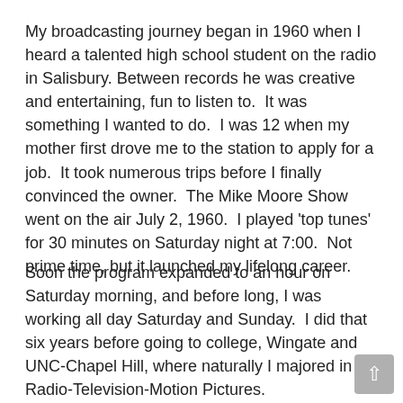My broadcasting journey began in 1960 when I heard a talented high school student on the radio in Salisbury. Between records he was creative and entertaining, fun to listen to.  It was something I wanted to do.  I was 12 when my mother first drove me to the station to apply for a job.  It took numerous trips before I finally convinced the owner.  The Mike Moore Show went on the air July 2, 1960.  I played 'top tunes' for 30 minutes on Saturday night at 7:00.  Not prime time, but it launched my lifelong career.
Soon the program expanded to an hour on Saturday morning, and before long, I was working all day Saturday and Sunday.  I did that six years before going to college, Wingate and UNC-Chapel Hill, where naturally I majored in Radio-Television-Motion Pictures.